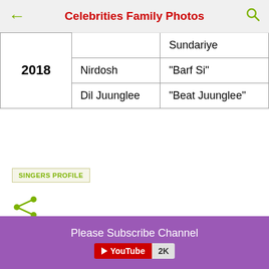Celebrities Family Photos
| Year | Film | Song |
| --- | --- | --- |
| 2018 |  | Sundariye |
| 2018 | Nirdosh | "Barf Si" |
| 2018 | Dil Juunglee | "Beat Juunglee" |
SINGERS PROFILE
[Figure (other): Share icon (green)]
Post a Comment
Please Subscribe Channel
[Figure (logo): YouTube 2K button]